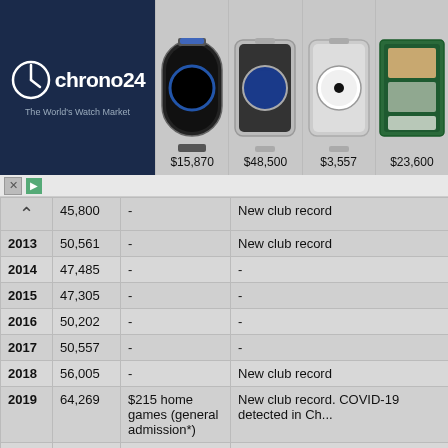[Figure (screenshot): Chrono24 banner advertisement showing logo and four luxury watches with prices: $15,870, $48,500, $3,557, $23,600]
| Year | Members | Notes | Description |
| --- | --- | --- | --- |
|  | 45,800 | - | New club record |
| 2013 | 50,561 | - | New club record |
| 2014 | 47,485 | - | - |
| 2015 | 47,305 | - | - |
| 2016 | 50,202 | - | - |
| 2017 | 50,557 | - | - |
| 2018 | 56,005 | - | New club record |
| 2019 | 64,269 | $215 home games (general admission*) | New club record. COVID-19 detected in Ch... |
| 2020 | 67,035 | - | New club record. COVID-19 pandemic halt... June 13. No crowds. After Rnd 5 all Carlton... with reduced quarters, a 17 Round comp. ... membership tally. |